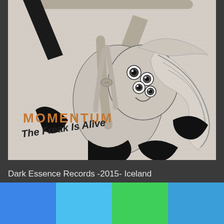[Figure (illustration): Album cover art for MOMENTUM - The Freak Is Alive. Black and white sketch/illustration of a surreal figure with multiple eyes on its face and long flowing hair, arms raised. The figure appears contorted or acrobatic. Black and white color scheme with a light textured background. Text 'MOMENTUM' in golden/orange block letters and 'The Freak Is Alive' in stylized graffiti handwriting below it, in the lower left of the image.]
Dark Essence Records -2015- Iceland
The Icelanders MOMENTUM are already since 2004 active on